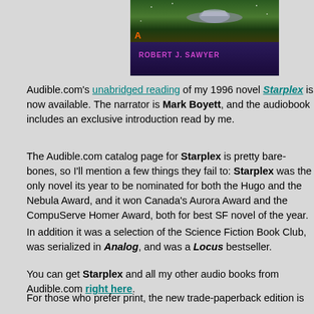[Figure (illustration): Book cover for Starplex by Robert J. Sawyer, showing a spacecraft scene at top and the author's name in purple text on a dark blue background]
Audible.com's unabridged reading of my 1996 novel Starplex is now available. The narrator is Mark Boyett, and the audiobook includes an exclusive introduction read by me.
The Audible.com catalog page for Starplex is pretty bare-bones, so I'll mention a few things they fail to: Starplex was the only novel its year to be nominated for both the Hugo and the Nebula Award, and it won Canada's Aurora Award and the CompuServe Homer Award, both for best SF novel of the year.
In addition it was a selection of the Science Fiction Book Club, was serialized in Analog, and was a Locus bestseller.
You can get Starplex and all my other audio books from Audible.com right here.
For those who prefer print, the new trade-paperback edition is